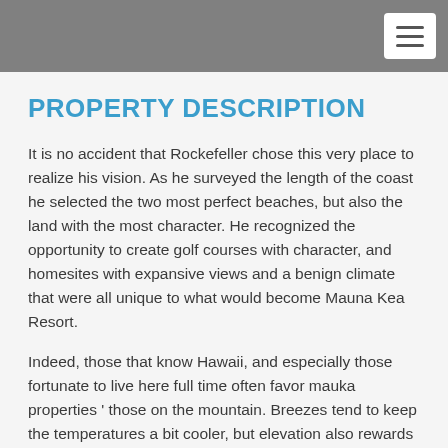[navigation bar with hamburger menu]
PROPERTY DESCRIPTION
It is no accident that Rockefeller chose this very place to realize his vision. As he surveyed the length of the coast he selected the two most perfect beaches, but also the land with the most character. He recognized the opportunity to create golf courses with character, and homesites with expansive views and a benign climate that were all unique to what would become Mauna Kea Resort.
Indeed, those that know Hawaii, and especially those fortunate to live here full time often favor mauka properties ‘ those on the mountain. Breezes tend to keep the temperatures a bit cooler, but elevation also rewards owners with